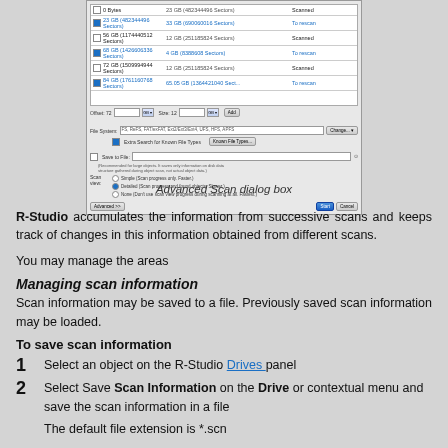[Figure (screenshot): Advanced Scan dialog box screenshot showing partition list with checkboxes, offset/size fields, file system selector, Extra Search for Known File Types checkbox, Save to File option, Scan view radio buttons (Simple, Detailed, None), and Advanced/Start/Cancel buttons]
Advanced Scan dialog box
R-Studio accumulates the information from successive scans and keeps track of changes in this information obtained from different scans.
You may manage the areas
Managing scan information
Scan information may be saved to a file. Previously saved scan information may be loaded.
To save scan information
Select an object on the R-Studio Drives panel
Select Save Scan Information on the Drive or contextual menu and save the scan information in a file
The default file extension is *.scn